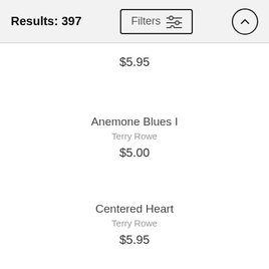Results: 397
$5.95
Anemone Blues I
Terry Rowe
$5.00
Centered Heart
Terry Rowe
$5.95